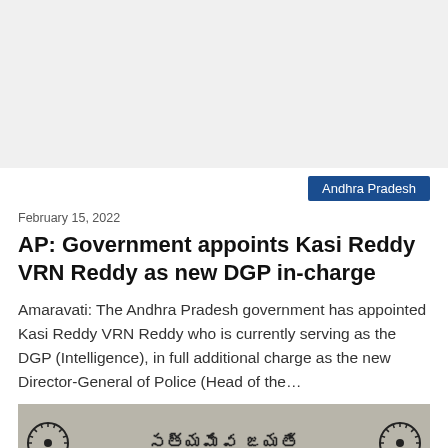[Figure (other): Advertisement or blank space at top of page]
Andhra Pradesh
February 15, 2022
AP: Government appoints Kasi Reddy VRN Reddy as new DGP in-charge
Amaravati: The Andhra Pradesh government has appointed Kasi Reddy VRN Reddy who is currently serving as the DGP (Intelligence), in full additional charge as the new Director-General of Police (Head of the…
[Figure (photo): Image showing an emblem with Telugu text 'సత్యమేవ జయతే' and Ashoka Chakra symbols on both sides, with a person visible at the bottom.]